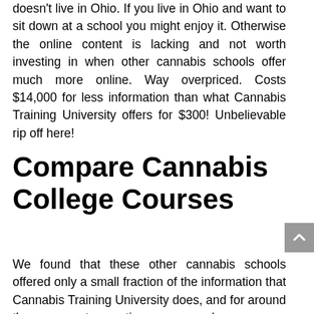doesn't live in Ohio. If you live in Ohio and want to sit down at a school you might enjoy it. Otherwise the online content is lacking and not worth investing in when other cannabis schools offer much more online. Way overpriced. Costs $14,000 for less information than what Cannabis Training University offers for $300! Unbelievable rip off here!
Compare Cannabis College Courses
We found that these other cannabis schools offered only a small fraction of the information that Cannabis Training University does, and for around the same cost, sometimes even much more.